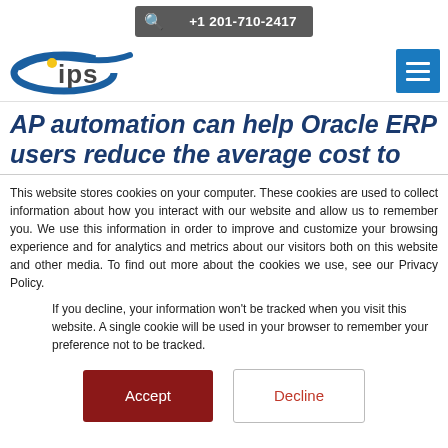🔍  +1 201-710-2417
[Figure (logo): IPS company logo with blue swoosh and yellow dot]
AP automation can help Oracle ERP users reduce the average cost to
This website stores cookies on your computer. These cookies are used to collect information about how you interact with our website and allow us to remember you. We use this information in order to improve and customize your browsing experience and for analytics and metrics about our visitors both on this website and other media. To find out more about the cookies we use, see our Privacy Policy.
If you decline, your information won't be tracked when you visit this website. A single cookie will be used in your browser to remember your preference not to be tracked.
Accept   Decline